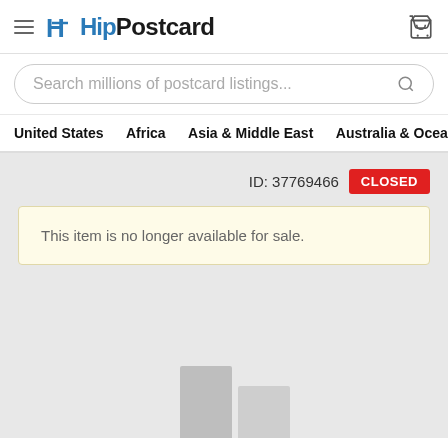HipPostcard
Search millions of postcard listings...
United States  Africa  Asia & Middle East  Australia & Oceania  Canada  Europe
ID: 37769466  CLOSED
This item is no longer available for sale.